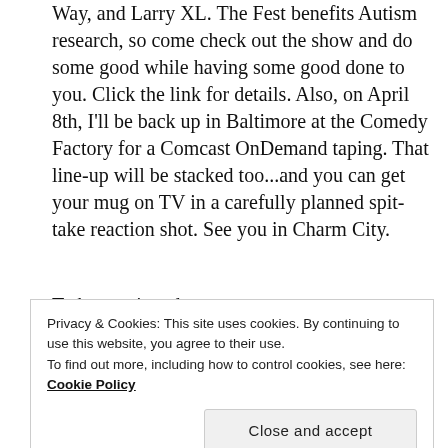Way, and Larry XL. The Fest benefits Autism research, so come check out the show and do some good while having some good done to you. Click the link for details. Also, on April 8th, I'll be back up in Baltimore at the Comedy Factory for a Comcast OnDemand taping. That line-up will be stacked too...and you can get your mug on TV in a carefully planned spit-take reaction shot. See you in Charm City.
To be continued...
Advertisements
[Figure (other): Advertisement banner with gradient blue-purple background and text 'Simplified pricing for']
Privacy & Cookies: This site uses cookies. By continuing to use this website, you agree to their use.
To find out more, including how to control cookies, see here: Cookie Policy
Close and accept